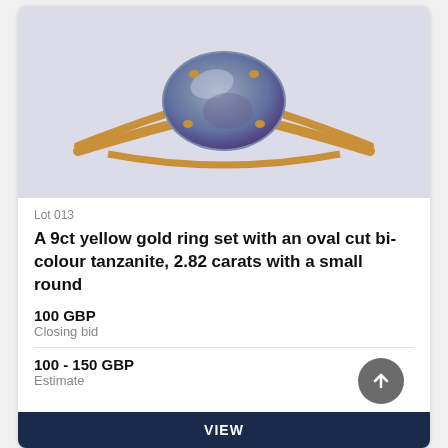[Figure (photo): A 9ct yellow gold ring with an oval cut bi-colour tanzanite gemstone (blue-green), prong set, with small round diamonds on the shoulders, photographed on a light background.]
Lot 013
A 9ct yellow gold ring set with an oval cut bi-colour tanzanite, 2.82 carats with a small round
100 GBP
Closing bid
100 - 150 GBP
Estimate
VIEW